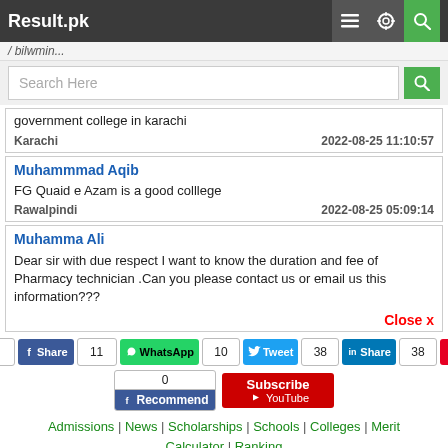Result.pk
Search Here
government college in karachi
Karachi 2022-08-25 11:10:57
Muhammmad Aqib
FG Quaid e Azam is a good colllege
Rawalpindi 2022-08-25 05:09:14
Muhamma Ali
Dear sir with due respect I want to know the duration and fee of Pharmacy technician .Can you please contact us or email us this information???
Close x
1 | 11 | 10 | 38 | 38 | Share | WhatsApp | Tweet | Share | Pin
0 | Recommend | Subscribe | YouTube
Admissions | News | Scholarships | Schools | Colleges | Merit Calculator | Ranking
matric exams and now I want to go to degree cia